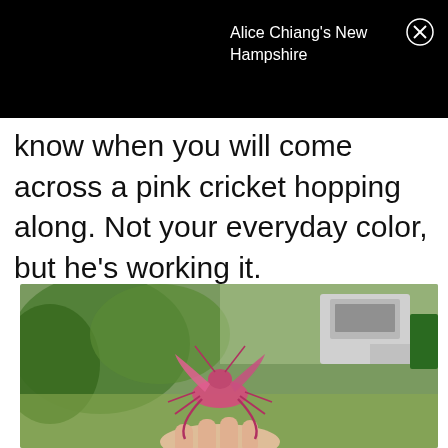Alice Chiang's New Hampshire
know when you will come across a pink cricket hopping along. Not your everyday color, but he's working it.
[Figure (photo): A pink cricket/grasshopper being held up by a person's fingers, with a green outdoor background and farm machinery visible behind it.]